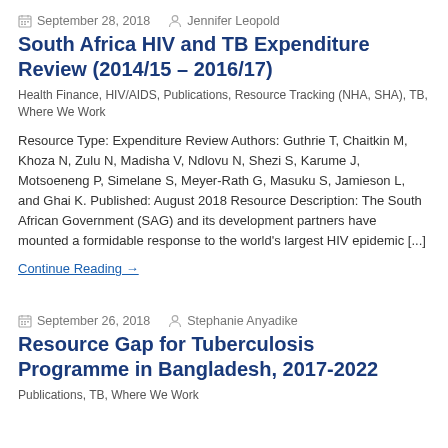September 28, 2018   Jennifer Leopold
South Africa HIV and TB Expenditure Review (2014/15 – 2016/17)
Health Finance, HIV/AIDS, Publications, Resource Tracking (NHA, SHA), TB, Where We Work
Resource Type: Expenditure Review Authors: Guthrie T, Chaitkin M, Khoza N, Zulu N, Madisha V, Ndlovu N, Shezi S, Karume J, Motsoeneng P, Simelane S, Meyer-Rath G, Masuku S, Jamieson L, and Ghai K. Published: August 2018 Resource Description: The South African Government (SAG) and its development partners have mounted a formidable response to the world's largest HIV epidemic [...]
Continue Reading →
September 26, 2018   Stephanie Anyadike
Resource Gap for Tuberculosis Programme in Bangladesh, 2017-2022
Publications, TB, Where We Work